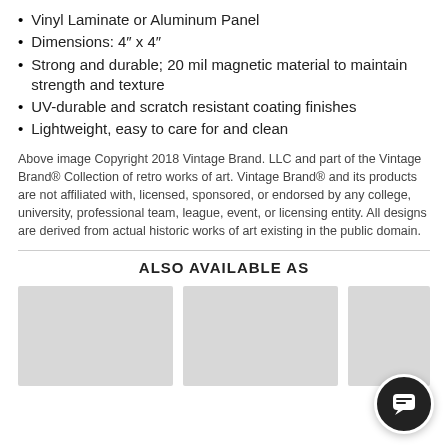Vinyl Laminate or Aluminum Panel
Dimensions: 4" x 4"
Strong and durable; 20 mil magnetic material to maintain strength and texture
UV-durable and scratch resistant coating finishes
Lightweight, easy to care for and clean
Above image Copyright 2018 Vintage Brand. LLC and part of the Vintage Brand® Collection of retro works of art. Vintage Brand® and its products are not affiliated with, licensed, sponsored, or endorsed by any college, university, professional team, league, event, or licensing entity. All designs are derived from actual historic works of art existing in the public domain.
ALSO AVAILABLE AS
[Figure (photo): Three product thumbnail images shown side by side (partially visible), gray placeholder boxes]
[Figure (other): Chat/message button icon in bottom right corner]